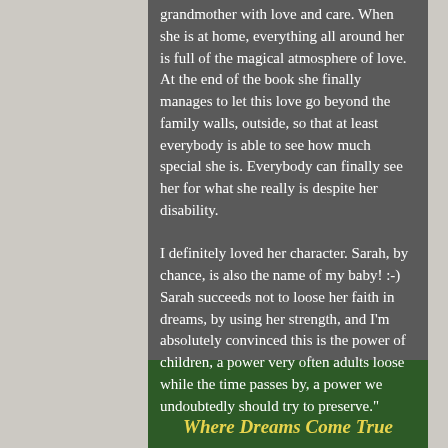grandmother with love and care. When she is at home, everything all around her is full of the magical atmosphere of love. At the end of the book she finally manages to let this love go beyond the family walls, outside, so that at least everybody is able to see how much special she is. Everybody can finally see her for what she really is despite her disability.

I definitely loved her character. Sarah, by chance, is also the name of my baby! :-) Sarah succeeds not to loose her faith in dreams, by using her strength, and I'm absolutely convinced this is the power of children, a power very often adults loose while the time passes by, a power we undoubtedly should try to preserve."
Where Dreams Come True